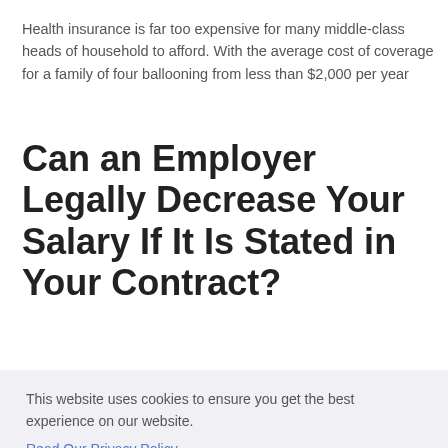Health insurance is far too expensive for many middle-class heads of household to afford. With the average cost of coverage for a family of four ballooning from less than $2,000 per year
Can an Employer Legally Decrease Your Salary If It Is Stated in Your Contract?
This website uses cookies to ensure you get the best experience on our website.
Read Our Privacy Policy
Accept!
Required to Offer This Benefit to